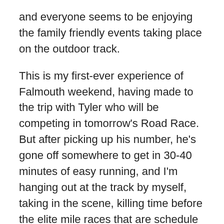and everyone seems to be enjoying the family friendly events taking place on the outdoor track.
This is my first-ever experience of Falmouth weekend, having made to the trip with Tyler who will be competing in tomorrow's Road Race. But after picking up his number, he's gone off somewhere to get in 30-40 minutes of easy running, and I'm hanging out at the track by myself, taking in the scene, killing time before the elite mile races that are schedule to begin in a little over an hour.
But first, there are an endless number of kids races.
I have no objection whatsoever to having professional runners share the spotlight with kids. Although I sometimes wonder how much 4- and 5-year-olds get out